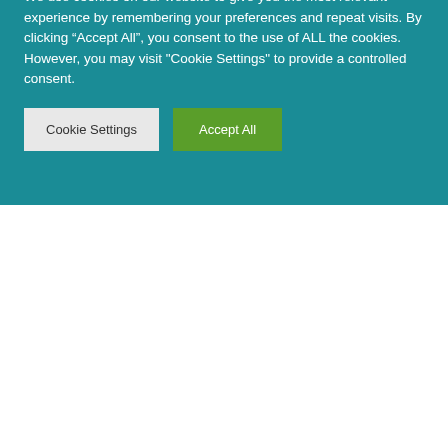[Figure (screenshot): Video thumbnail showing a Doberman Pinscher dog against a dark background with text '8 THINGS ONLY DOBERMAN PINSCHER OWNERS KNOW' and Animal Insider logo with play button]
We use cookies on our website to give you the most relevant experience by remembering your preferences and repeat visits. By clicking “Accept All”, you consent to the use of ALL the cookies. However, you may visit "Cookie Settings" to provide a controlled consent.